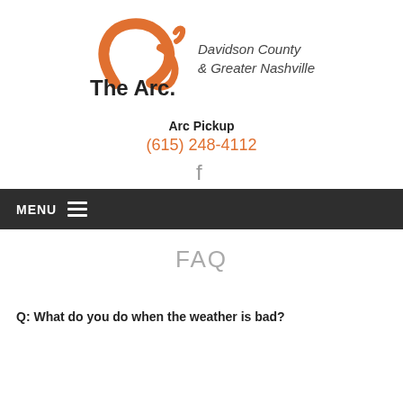[Figure (logo): The Arc Davidson County & Greater Nashville logo with orange stylized arc icon]
Arc Pickup
(615) 248-4112
[Figure (other): Facebook icon]
MENU
FAQ
Q: What do you do when the weather is bad?